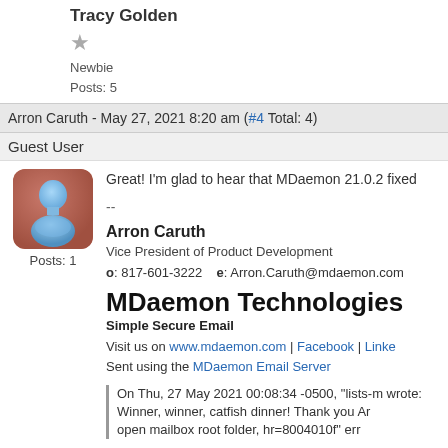Tracy Golden
Newbie
Posts: 5
Arron Caruth - May 27, 2021 8:20 am (#4 Total: 4)
Guest User
[Figure (illustration): Avatar image of a blue generic person figure on a reddish-brown rounded square background]
Posts: 1
Great! I'm glad to hear that MDaemon 21.0.2 fixed
--
Arron Caruth
Vice President of Product Development
o: 817-601-3222    e: Arron.Caruth@mdaemon.com
MDaemon Technologies
Simple Secure Email
Visit us on www.mdaemon.com | Facebook | LinkedIn
Sent using the MDaemon Email Server
On Thu, 27 May 2021 00:08:34 -0500, "lists-m wrote:
Winner, winner, catfish dinner! Thank you Ar open mailbox root folder, hr=8004010f" err